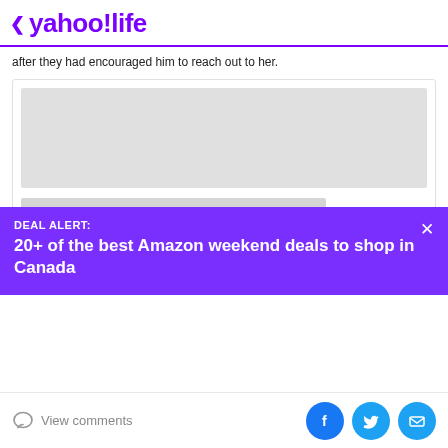< yahoo!life
after they had encouraged him to reach out to her.
[Figure (other): Advertisement placeholder with grey image box and two grey text lines below]
this came from all the new data for
DEAL ALERT:
20+ of the best Amazon weekend deals to shop in Canada
View comments